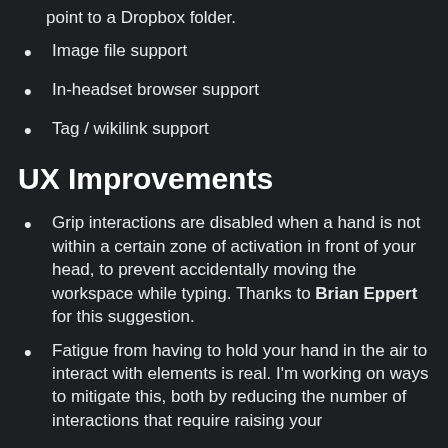point to a Dropbox folder.
Image file support
In-headset browser support
Tag / wikilink support
UX Improvements
Grip interactions are disabled when a hand is not within a certain zone of activation in front of your head, to prevent accidentally moving the workspace while typing. Thanks to Brian Eppert for this suggestion.
Fatigue from having to hold your hand in the air to interact with elements is real. I'm working on ways to mitigate this, both by reducing the number of interactions that require raising your